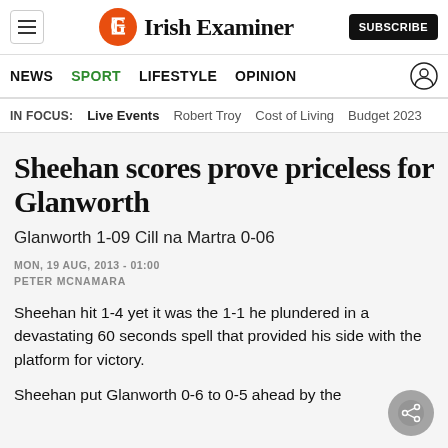Irish Examiner — SUBSCRIBE
NEWS  SPORT  LIFESTYLE  OPINION
IN FOCUS:  Live Events  Robert Troy  Cost of Living  Budget 2023
Sheehan scores prove priceless for Glanworth
Glanworth 1-09 Cill na Martra 0-06
MON, 19 AUG, 2013 - 01:00
PETER MCNAMARA
Sheehan hit 1-4 yet it was the 1-1 he plundered in a devastating 60 seconds spell that provided his side with the platform for victory.
Sheehan put Glanworth 0-6 to 0-5 ahead by the